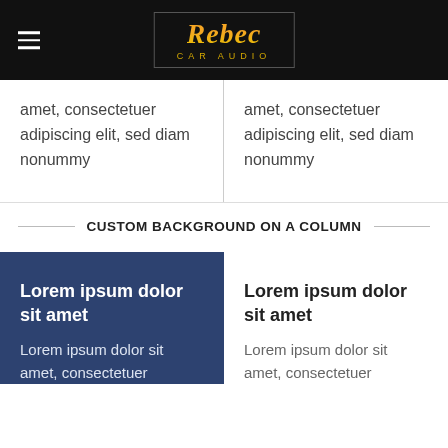Rebec Car Audio
amet, consectetuer adipiscing elit, sed diam nonummy
amet, consectetuer adipiscing elit, sed diam nonummy
CUSTOM BACKGROUND ON A COLUMN
Lorem ipsum dolor sit amet
Lorem ipsum dolor sit amet, consectetuer
Lorem ipsum dolor sit amet
Lorem ipsum dolor sit amet, consectetuer